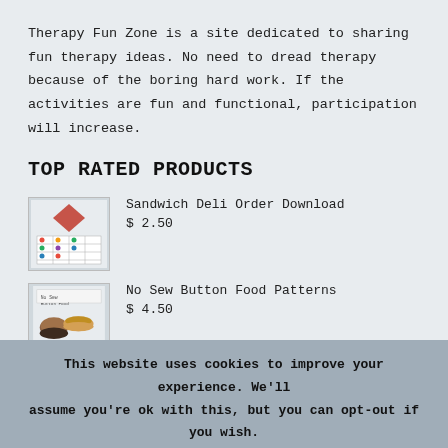Therapy Fun Zone is a site dedicated to sharing fun therapy ideas. No need to dread therapy because of the boring hard work. If the activities are fun and functional, participation will increase.
TOP RATED PRODUCTS
Sandwich Deli Order Download $ 2.50
No Sew Button Food Patterns $ 4.50
Bugs in a Jar Craftivity
This website uses cookies to improve your experience. We'll assume you're ok with this, but you can opt-out if you wish.